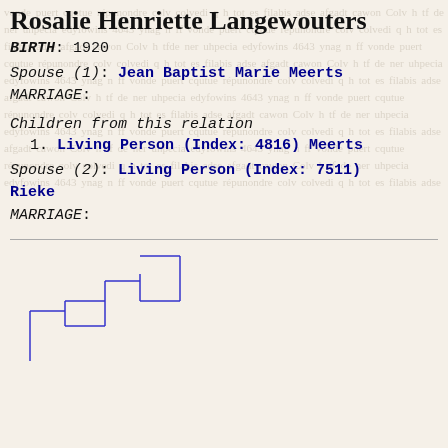Rosalie Henriette Langewouters
BIRTH: 1920
Spouse (1): Jean Baptist Marie Meerts
MARRIAGE:
Children from this relation
1. Living Person (Index: 4816) Meerts
Spouse (2): Living Person (Index: 7511) Rieke
MARRIAGE:
[Figure (organizational-chart): Family tree diagram showing genealogical connections with blue lines forming a hierarchical bracket structure.]